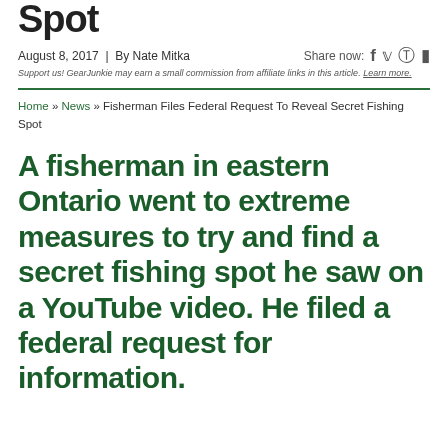Spot
August 8, 2017 | By Nate Mitka   Share now: f 𝕥 🔴 ▶
Support us! GearJunkie may earn a small commission from affiliate links in this article. Learn more.
Home » News » Fisherman Files Federal Request To Reveal Secret Fishing Spot
A fisherman in eastern Ontario went to extreme measures to try and find a secret fishing spot he saw on a YouTube video. He filed a federal request for information.